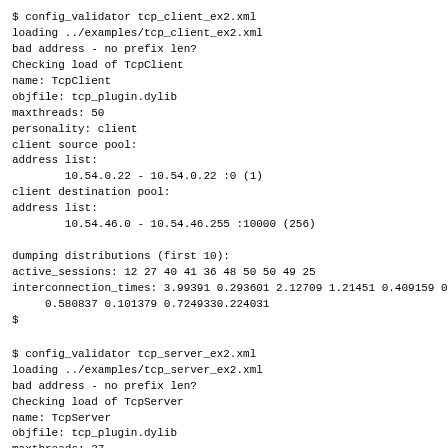$ config_validator tcp_client_ex2.xml
loading ../examples/tcp_client_ex2.xml
bad address - no prefix len?
Checking load of TcpClient
name: TcpClient
objfile: tcp_plugin.dylib
maxthreads: 50
personality: client
client source pool:
address list:
        10.54.0.22 - 10.54.0.22 :0 (1)
client destination pool:
address list:
        10.54.46.0 - 10.54.46.255 :10000 (256)

dumping distributions (first 10):
active_sessions: 12 27 40 41 36 48 50 50 49 25
interconnection_times: 3.99391 0.293601 2.12709 1.21451 0.409159 0
     0.580837 0.101379 0.7249330.224031
$
$ config_validator tcp_server_ex2.xml
loading ../examples/tcp_server_ex2.xml
bad address - no prefix len?
Checking load of TcpServer
name: TcpServer
objfile: tcp_plugin.dylib
maxthreads: 37
personality: server
server address pool:
address list:
        0.0.0.0 - 0.0.0.0 :10000 (1)

dumping distributions (first 10):
active_sessions: 37
file_sizes: 18643900 15150 807481 157679 23465 4930 39188 4418 563